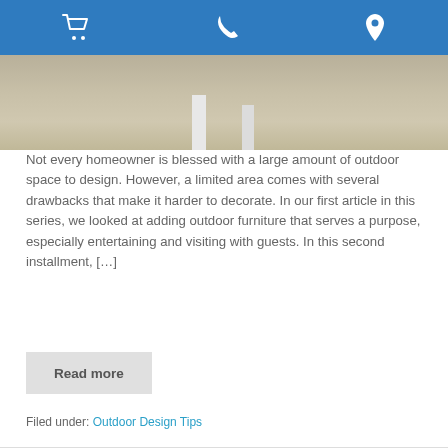[Figure (photo): Outdoor furniture photo showing table/chair legs on stone patio floor]
Not every homeowner is blessed with a large amount of outdoor space to design. However, a limited area comes with several drawbacks that make it harder to decorate. In our first article in this series, we looked at adding outdoor furniture that serves a purpose, especially entertaining and visiting with guests. In this second installment, […]
Read more
Filed under: Outdoor Design Tips